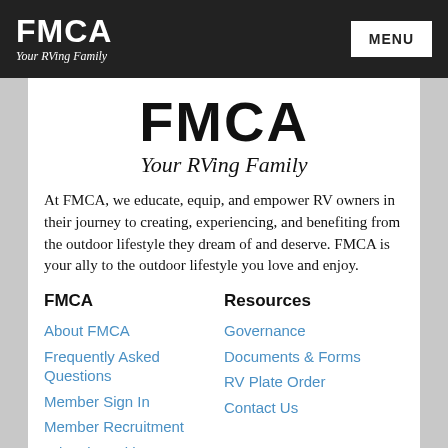FMCA Your RVing Family | MENU
[Figure (logo): FMCA logo — large bold FMCA text with italic tagline 'Your RVing Family' below]
At FMCA, we educate, equip, and empower RV owners in their journey to creating, experiencing, and benefiting from the outdoor lifestyle they dream of and deserve. FMCA is your ally to the outdoor lifestyle you love and enjoy.
FMCA
About FMCA
Frequently Asked Questions
Member Sign In
Member Recruitment
Advertise With FMCA
Resources
Governance
Documents & Forms
RV Plate Order
Contact Us